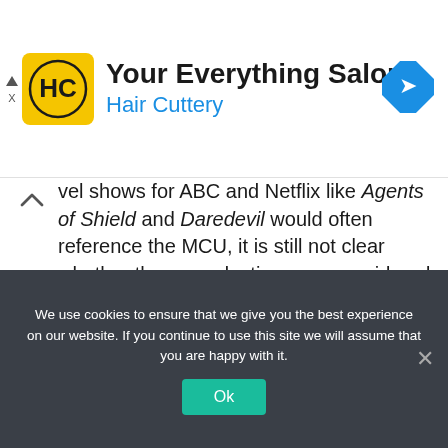[Figure (logo): Hair Cuttery ad banner with HC logo, 'Your Everything Salon' title, 'Hair Cuttery' subtitle in blue, and a navigation/directions icon]
vel shows for ABC and Netflix like Agents of Shield and Daredevil would often reference the MCU, it is still not clear whether those productions are considered MCU canon. Therefore, unlike the current MCU, the Infinity Saga only saw theatrical films being produced by Marvel Studios. The journey from Tony Stark's becoming Iron Man to his ultimate sacrifice in Avengers: Endgameplus Spider-Man: Far From Home's sort of post-blip epilogue, adds to 2996 minutes – or 49 hours
We use cookies to ensure that we give you the best experience on our website. If you continue to use this site we will assume that you are happy with it.